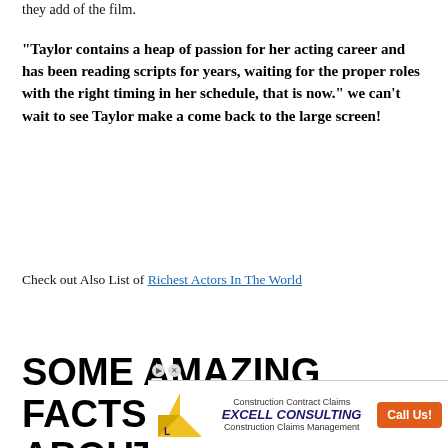they add of the film.
“Taylor contains a heap of passion for her acting career and has been reading scripts for years, waiting for the proper roles with the right timing in her schedule, that is now.” we can’t wait to see Taylor make a come back to the large screen!
Check out Also List of Richest Actors In The World
SOME AMAZING FACTS ABOUT TAYLOR SWIFT:
[Figure (screenshot): Partially visible ad overlay on top of article content with a grey semi-transparent box and an X close button]
[Figure (infographic): Bottom advertisement banner for Excell Consulting - Construction Contract Claims and Construction Claims Management with orange 'Call Us!' button and yellow logo]